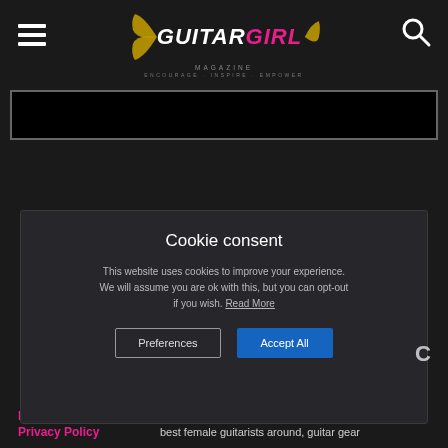GUITAR GIRL MAGAZINE — ENCOURAGE · INSPIRE · EMPOWER
[Figure (screenshot): Black bar / advertisement strip below header]
Cookie consent

This website uses cookies to improve your experience. We will assume you are ok with this, but you can opt-out if you wish. Read More

[Preferences] [Accept All]
Meet The Team
Privacy Policy
industry news, interviews of some of the best female guitarists around, guitar gear